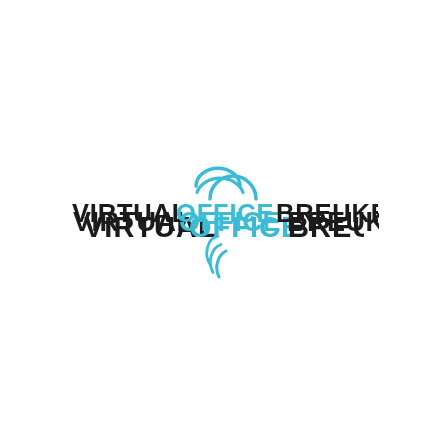[Figure (logo): VirtualOfficeBreukelen.nl logo with a cyan/blue semicircle arc above the text and a small curved arc below-left of the text. The wordmark reads VIRTUALOFFICEBREUKELEN in bold uppercase letters with VIRTUAL and BREUKELEN in dark/black and OFFICE in cyan/blue, followed by NL in smaller cyan text.]